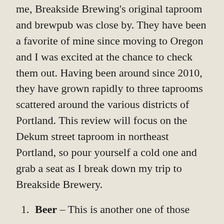me, Breakside Brewing's original taproom and brewpub was close by. They have been a favorite of mine since moving to Oregon and I was excited at the chance to check them out. Having been around since 2010, they have grown rapidly to three taprooms scattered around the various districts of Portland. This review will focus on the Dekum street taproom in northeast Portland, so pour yourself a cold one and grab a seat as I break down my trip to Breakside Brewery.
Beer – This is another one of those